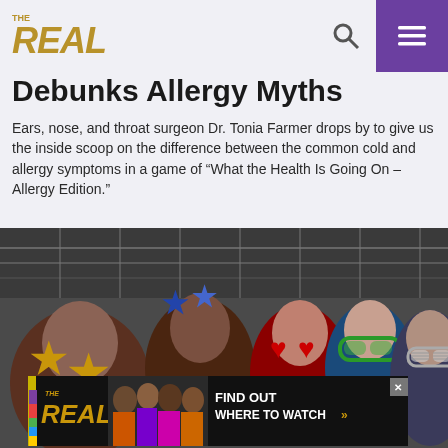THE REAL — logo with search and menu icons
Debunks Allergy Myths
Ears, nose, and throat surgeon Dr. Tonia Farmer drops by to give us the inside scoop on the difference between the common cold and allergy symptoms in a game of “What the Health Is Going On – Allergy Edition.”
[Figure (photo): Five women posing playfully with oversized novelty glasses in front of a stage/studio backdrop. One wears gold star-shaped glasses, another holds blue star glasses above her head, the center woman holds large red heart-shaped glasses, to the right one holds green oversized sunglasses, and the far right holds large silver/grey oversized glasses. At the bottom is a 'The Real – Find Out Where to Watch' advertisement banner.]